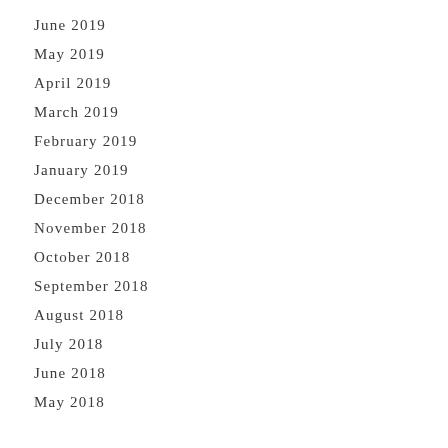June 2019
May 2019
April 2019
March 2019
February 2019
January 2019
December 2018
November 2018
October 2018
September 2018
August 2018
July 2018
June 2018
May 2018